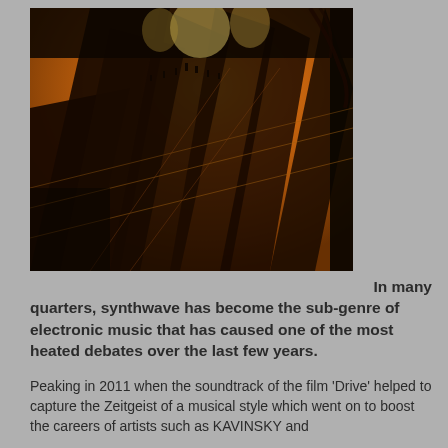[Figure (photo): Artistic photograph of a colonnade or arcade interior with dramatic long shadows cast across an orange-tiled floor, silhouetted figures and gothic arched columns, warm amber and dark brown tones]
In many quarters, synthwave has become the sub-genre of electronic music that has caused one of the most heated debates over the last few years.
Peaking in 2011 when the soundtrack of the film 'Drive' helped to capture the Zeitgeist of a musical style which went on to boost the careers of artists such as KAVINSKY and